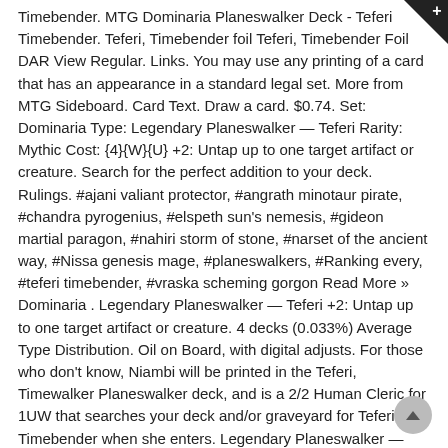Timebender. MTG Dominaria Planeswalker Deck - Teferi Timebender. Teferi, Timebender foil Teferi, Timebender Foil DAR View Regular. Links. You may use any printing of a card that has an appearance in a standard legal set. More from MTG Sideboard. Card Text. Draw a card. $0.74. Set: Dominaria Type: Legendary Planeswalker — Teferi Rarity: Mythic Cost: {4}{W}{U} +2: Untap up to one target artifact or creature. Search for the perfect addition to your deck. Rulings. #ajani valiant protector, #angrath minotaur pirate, #chandra pyrogenius, #elspeth sun's nemesis, #gideon martial paragon, #nahiri storm of stone, #narset of the ancient way, #Nissa genesis mage, #planeswalkers, #Ranking every, #teferi timebender, #vraska scheming gorgon Read More » Dominaria . Legendary Planeswalker — Teferi +2: Untap up to one target artifact or creature. 4 decks (0.033%) Average Type Distribution. Oil on Board, with digital adjusts. For those who don't know, Niambi will be printed in the Teferi, Timewalker Planeswalker deck, and is a 2/2 Human Cleric for 1UW that searches your deck and/or graveyard for Teferi, Timebender when she enters. Legendary Planeswalker — Teferi. TCGplayer decks with this card; Card analysis on EDHREC; Card stats on C Cobra; Search DeckStats for this card; Search MTGTop8 for this card; Search CardFall Tern as Hier an; Path... an Pos... and